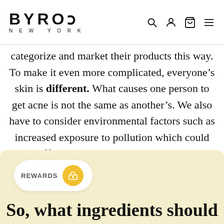BYROE NEW YORK
categorize and market their products this way. To make it even more complicated, everyone’s skin is different. What causes one person to get acne is not the same as another’s. We also have to consider environmental factors such as increased exposure to pollution which could also affect a person’s tendency to get acne. Safe to say — it’s complicated.
So, what ingredients should